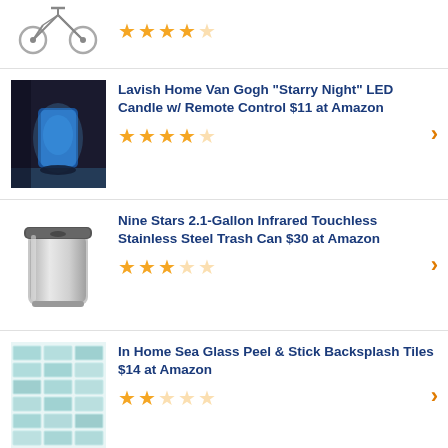[Figure (screenshot): Partial top item row with bicycle image and 4-star rating]
[Figure (photo): Lavish Home Van Gogh Starry Night LED Candle product image]
Lavish Home Van Gogh "Starry Night" LED Candle w/ Remote Control $11 at Amazon
[Figure (photo): Nine Stars stainless steel trash can product image]
Nine Stars 2.1-Gallon Infrared Touchless Stainless Steel Trash Can $30 at Amazon
[Figure (photo): In Home Sea Glass Peel & Stick Backsplash Tiles product image]
In Home Sea Glass Peel & Stick Backsplash Tiles $14 at Amazon